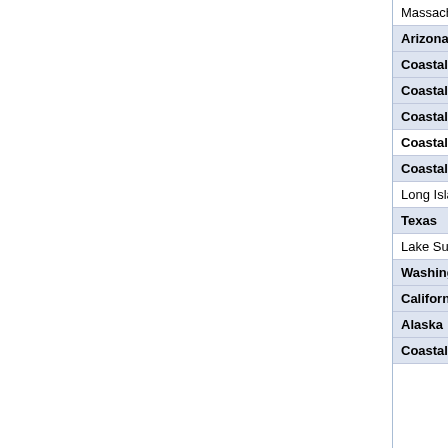| Location | Alert Type |
| --- | --- |
| Massachusetts | Seve… |
| Arizona | Seve… |
| Coastal Oregon | Mari… |
| Coastal California-Oregon | Mari… |
| Coastal Oregon-California | Mari… |
| Coastal Oregon,Coastal Oregon-Washington | Mari… |
| Coastal Florida-Mississippi,Gulf of Mexico waters | Mari… |
| Long Island Sound | Mari… |
| Texas | Mari… |
| Lake Superior - Minnesota | Non… |
| Washington | Non… |
| California | Non… |
| Alaska | Non… |
| Coastal California | Non… |
Back to Top
About us  |  Weather on your s…  ©2022 Custom… "MyForecast" and "Weather t… w…